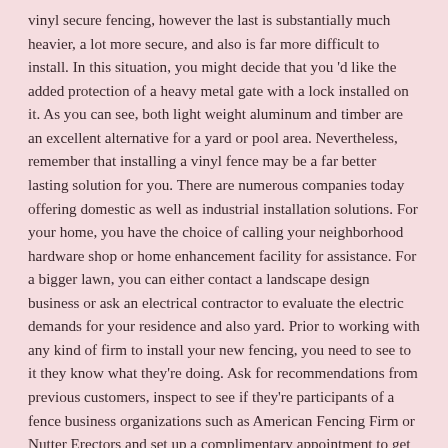vinyl secure fencing, however the last is substantially much heavier, a lot more secure, and also is far more difficult to install. In this situation, you might decide that you 'd like the added protection of a heavy metal gate with a lock installed on it. As you can see, both light weight aluminum and timber are an excellent alternative for a yard or pool area. Nevertheless, remember that installing a vinyl fence may be a far better lasting solution for you. There are numerous companies today offering domestic as well as industrial installation solutions. For your home, you have the choice of calling your neighborhood hardware shop or home enhancement facility for assistance. For a bigger lawn, you can either contact a landscape design business or ask an electrical contractor to evaluate the electric demands for your residence and also yard. Prior to working with any kind of firm to install your new fencing, you need to see to it they know what they're doing. Ask for recommendations from previous customers, inspect to see if they're participants of a fence business organizations such as American Fencing Firm or Nutter Erectors and set up a complimentary appointment to get a concept of what to anticipate from the service they give.
A 10-Point Plan for (Without Being Overwhelmed)